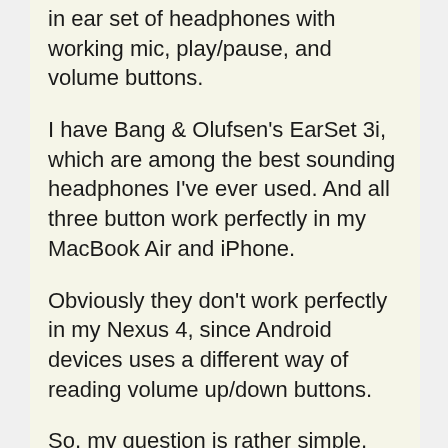in ear set of headphones with working mic, play/pause, and volume buttons.
I have Bang & Olufsen's EarSet 3i, which are among the best sounding headphones I've ever used. And all three button work perfectly in my MacBook Air and iPhone.
Obviously they don't work perfectly in my Nexus 4, since Android devices uses a different way of reading volume up/down buttons.
So, my question is rather simple, does anyone know how to make them work with Android, or alternatively any equally good headphones to the EarSet 3i's that work on Android? And to make it extra challenging, no in-ear ones please, cause